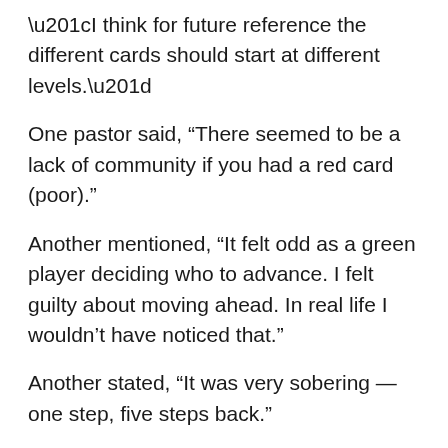“I think for future reference the different cards should start at different levels.”
One pastor said, “There seemed to be a lack of community if you had a red card (poor).”
Another mentioned, “It felt odd as a green player deciding who to advance. I felt guilty about moving ahead. In real life I wouldn’t have noticed that.”
Another stated, “It was very sobering — one step, five steps back.”
The audience all nodded in agreement.